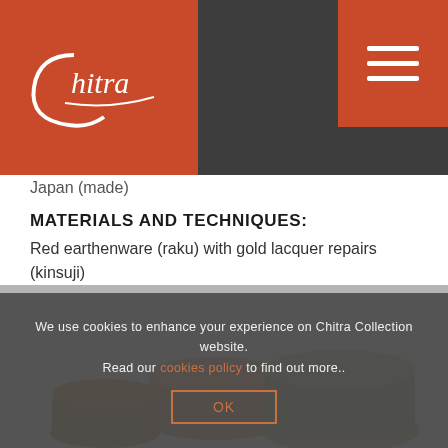Chitra Collection website header with logo and navigation
Japan (made)
MATERIALS AND TECHNIQUES:
Red earthenware (raku) with gold lacquer repairs (kinsuji)
COLLECTION NUMBER:
1451
[Figure (photo): Ceramic raku tea bowls with gold lacquer repairs (kinsuji), shown on a grey background]
We use cookies to enhance your experience on Chitra Collection website. Read our cookies policy to find out more.